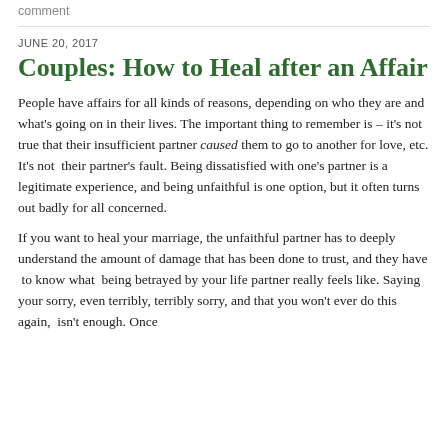comment
JUNE 20, 2017
Couples: How to Heal after an Affair
People have affairs for all kinds of reasons, depending on who they are and what's going on in their lives. The important thing to remember is – it's not true that their insufficient partner caused them to go to another for love, etc. It's not their partner's fault. Being dissatisfied with one's partner is a legitimate experience, and being unfaithful is one option, but it often turns out badly for all concerned.
If you want to heal your marriage, the unfaithful partner has to deeply understand the amount of damage that has been done to trust, and they have to know what being betrayed by your life partner really feels like. Saying your sorry, even terribly, terribly sorry, and that you won't ever do this again, isn't enough. Once